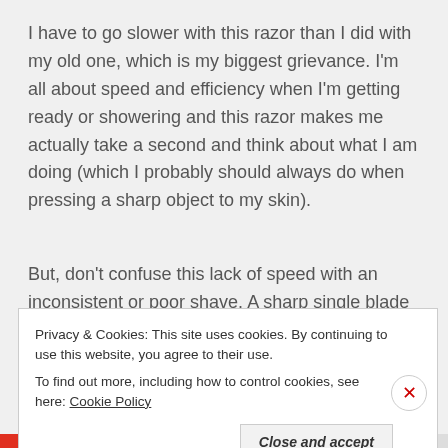I have to go slower with this razor than I did with my old one, which is my biggest grievance. I'm all about speed and efficiency when I'm getting ready or showering and this razor makes me actually take a second and think about what I am doing (which I probably should always do when pressing a sharp object to my skin).
But, don't confuse this lack of speed with an inconsistent or poor shave. A sharp single blade seems to give me just as close of a shave as my old 5 blade razor did and I get less razor burn afterwards (like way less razor
Privacy & Cookies: This site uses cookies. By continuing to use this website, you agree to their use.
To find out more, including how to control cookies, see here: Cookie Policy
Close and accept